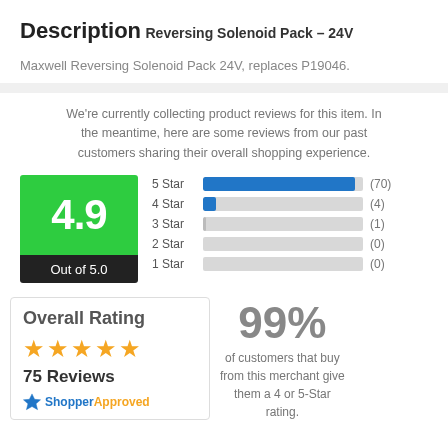Description
Reversing Solenoid Pack – 24V
Maxwell Reversing Solenoid Pack 24V, replaces P19046.
We're currently collecting product reviews for this item. In the meantime, here are some reviews from our past customers sharing their overall shopping experience.
[Figure (bar-chart): Star Rating Distribution]
Overall Rating
75 Reviews
ShopperApproved
99%
of customers that buy from this merchant give them a 4 or 5-Star rating.